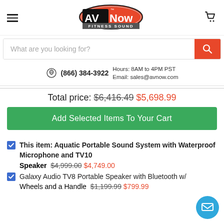AVNow Fitness Sound — navigation header with logo, hamburger menu, cart icon
What are you looking for? [search box]
(866) 384-3922  Hours: 8AM to 4PM PST  Email: sales@avnow.com
Total price: $6,416.49  $5,698.99
Add Selected Items To Your Cart
This item: Aquatic Portable Sound System with Waterproof Microphone and TV10 Speaker  $4,999.00  $4,749.00
Galaxy Audio TV8 Portable Speaker with Bluetooth w/ Wheels and a Handle  $1,199.99  $799.99